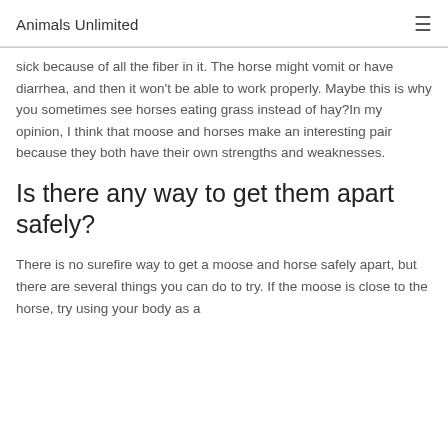Animals Unlimited
sick because of all the fiber in it. The horse might vomit or have diarrhea, and then it won't be able to work properly. Maybe this is why you sometimes see horses eating grass instead of hay?In my opinion, I think that moose and horses make an interesting pair because they both have their own strengths and weaknesses.
Is there any way to get them apart safely?
There is no surefire way to get a moose and horse safely apart, but there are several things you can do to try. If the moose is close to the horse, try using your body as a